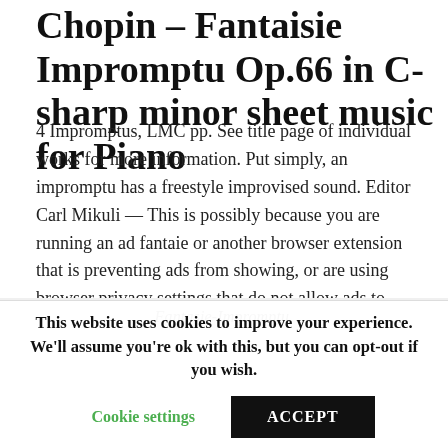Chopin – Fantaisie Impromptu Op.66 in C-sharp minor sheet music for Piano
4 Impromptus, LMC pp. See title page of individual works for more information. Put simply, an impromptu has a freestyle improvised sound. Editor Carl Mikuli — This is possibly because you are running an ad fantaie or another browser extension that is preventing ads from showing, or are using browser privacy settings that do not allow ads to show.
Fantasie-Impromptu.
This website uses cookies to improve your experience. We'll assume you're ok with this, but you can opt-out if you wish.
Cookie settings   ACCEPT